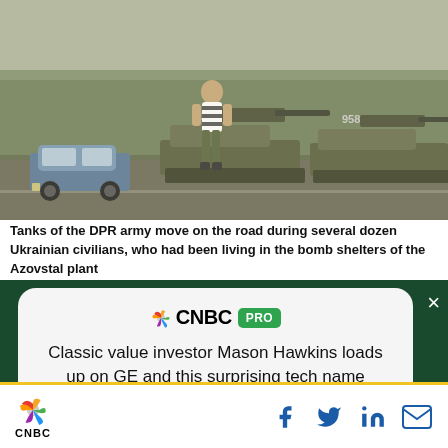[Figure (photo): Tanks of the DPR army moving on a road, with a man in striped shirt and camouflage pants walking in front; a civilian car is visible on the left]
Tanks of the DPR army move on the road during several dozen Ukrainian civilians, who had been living in the bomb shelters of the Azovstal plant
[Figure (screenshot): CNBC PRO advertisement overlay with headline: Classic value investor Mason Hawkins loads up on GE and this surprising tech name, with a SUBSCRIBE NOW button]
CNBC logo with Facebook, Twitter, LinkedIn, and email share icons